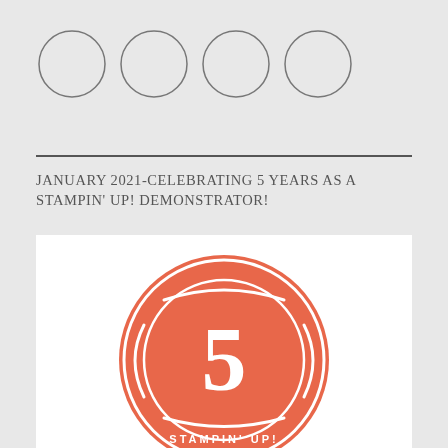[Figure (illustration): Four empty circles in a row, decorative header elements]
JANUARY 2021-CELEBRATING 5 YEARS AS A STAMPIN' UP! DEMONSTRATOR!
[Figure (logo): Stampin' Up! 5-year anniversary badge: a coral/salmon colored circular badge with the number 5 in the center and 'STAMPIN' UP!' text at the bottom, with decorative inner circle and arc elements]